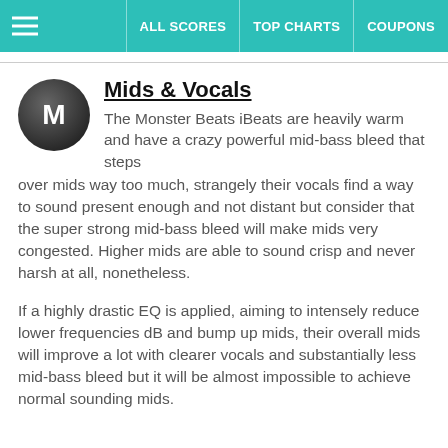ALL SCORES | TOP CHARTS | COUPONS
Mids & Vocals
The Monster Beats iBeats are heavily warm and have a crazy powerful mid-bass bleed that steps over mids way too much, strangely their vocals find a way to sound present enough and not distant but consider that the super strong mid-bass bleed will make mids very congested. Higher mids are able to sound crisp and never harsh at all, nonetheless.
If a highly drastic EQ is applied, aiming to intensely reduce lower frequencies dB and bump up mids, their overall mids will improve a lot with clearer vocals and substantially less mid-bass bleed but it will be almost impossible to achieve normal sounding mids.